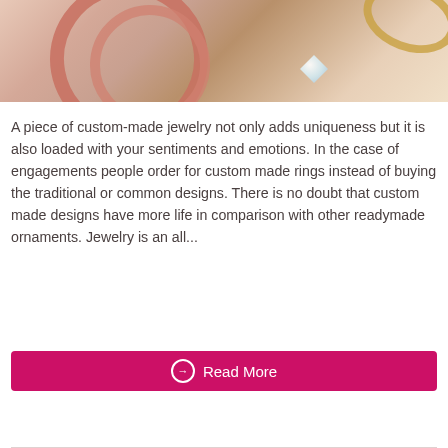[Figure (photo): Jewelry photo showing rose gold hoop earrings, diamond stud earrings, and gold bracelet on a light beige background]
A piece of custom-made jewelry not only adds uniqueness but it is also loaded with your sentiments and emotions. In the case of engagements people order for custom made rings instead of buying the traditional or common designs. There is no doubt that custom made designs have more life in comparison with other readymade ornaments. Jewelry is an all...
Read More